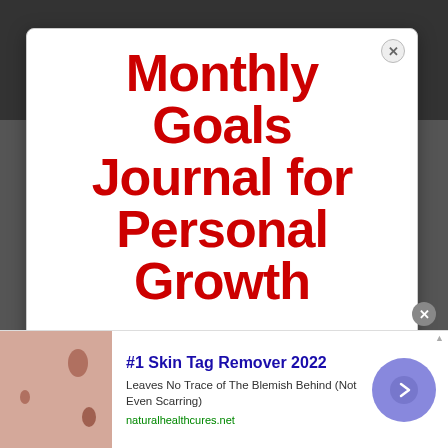[Figure (screenshot): Dark gray background at top of page behind popup card]
Monthly Goals Journal for Personal Growth
[Figure (photo): Skin with skin tag close-up photo in advertisement]
#1 Skin Tag Remover 2022
Leaves No Trace of The Blemish Behind (Not Even Scarring)
naturalhealthcures.net